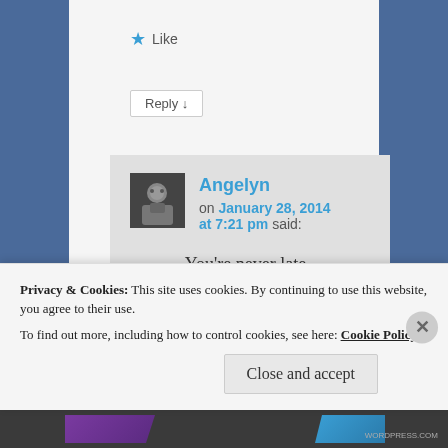Like
Reply ↓
Angelyn on January 28, 2014 at 7:21 pm said:
You're never late–
Privacy & Cookies: This site uses cookies. By continuing to use this website, you agree to their use. To find out more, including how to control cookies, see here: Cookie Policy
Close and accept